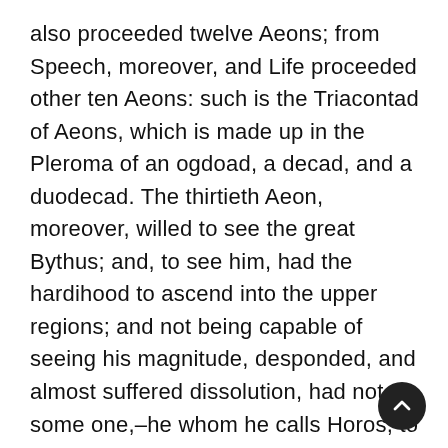also proceeded twelve Aeons; from Speech, moreover, and Life proceeded other ten Aeons: such is the Triacontad of Aeons, which is made up in the Pleroma of an ogdoad, a decad, and a duodecad. The thirtieth Aeon, moreover, willed to see the great Bythus; and, to see him, had the hardihood to ascend into the upper regions; and not being capable of seeing his magnitude, desponded, and almost suffered dissolution, had not some one,–he whom he calls Horos, to wit,–sent to invigorate him, strengthened him by pronouncing the word “Iao.” This Aeon, moreover, which was thus reduced to despondency, he calls Achamoth, (and says) that he was seized with certain regretful passions, and out of his passions gave birth to material essences. For he was panic-stricken, he says, and terror-stricken, and